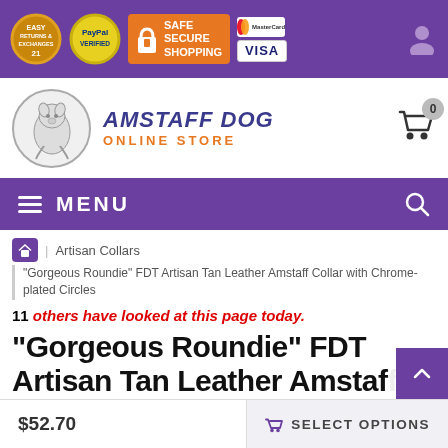Trust bar: Easy Returns & Exchanges, PayPal Verified, Safe Secure Shopping, MasterCard, VISA
[Figure (logo): Amstaff Dog Online Store logo with dog illustration in circle]
MENU (hamburger navigation bar)
home > Artisan Collars > "Gorgeous Roundie" FDT Artisan Tan Leather Amstaff Collar with Chrome-plated Circles
11 others have looked at this page today.
"Gorgeous Roundie" FDT Artisan Tan Leather Amstaf...
$52.70
SELECT OPTIONS